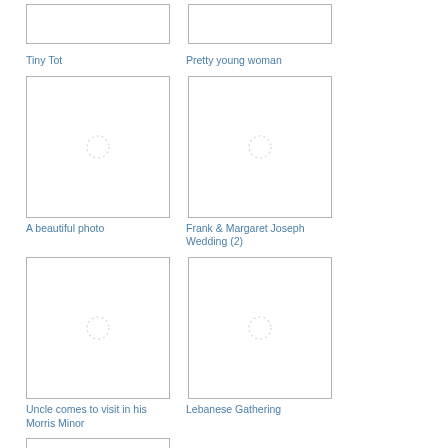[Figure (photo): Thumbnail image placeholder loading spinner - Tiny Tot]
Tiny Tot
[Figure (photo): Thumbnail image placeholder loading spinner - Pretty young woman]
Pretty young woman
[Figure (photo): Thumbnail image placeholder loading spinner - A beautiful photo]
A beautiful photo
[Figure (photo): Thumbnail image placeholder loading spinner - Frank & Margaret Joseph Wedding (2)]
Frank & Margaret Joseph Wedding (2)
[Figure (photo): Thumbnail image placeholder loading spinner - Uncle comes to visit in his Morris Minor]
Uncle comes to visit in his Morris Minor
[Figure (photo): Thumbnail image placeholder loading spinner - Lebanese Gathering]
Lebanese Gathering
[Figure (photo): Thumbnail image placeholder loading spinner - partial thumbnail at bottom]